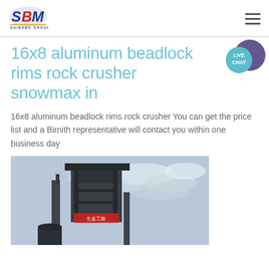SBM SHIBANG GROUP logo and navigation
16x8 aluminum beadlock rims rock crusher snowmax in
16x8 aluminum beadlock rims rock crusher You can get the price list and a Birnith representative will contact you within one business day
[Figure (photo): Industrial rock crusher or dust collector equipment against a cloudy sky, tall dark metal structure with pipes and Chinese characters on a red sign]